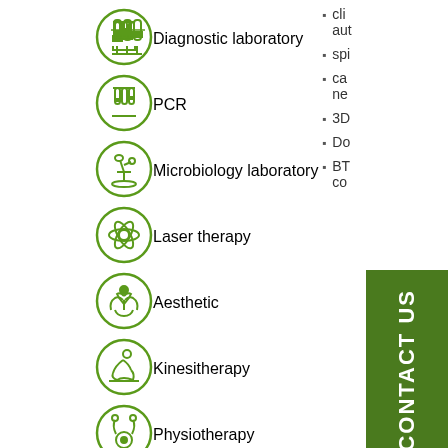[Figure (illustration): Green circle icon with test tubes - Diagnostic laboratory]
Diagnostic laboratory
[Figure (illustration): Green circle icon with test tubes - PCR]
PCR
[Figure (illustration): Green circle icon with microscope - Microbiology laboratory]
Microbiology laboratory
[Figure (illustration): Green circle icon with atom/laser symbol - Laser therapy]
Laser therapy
[Figure (illustration): Green circle icon with hands/plant - Aesthetic]
Aesthetic
[Figure (illustration): Green circle icon with person exercising - Kinesitherapy]
Kinesitherapy
[Figure (illustration): Green circle icon with stethoscope - Physiotherapy]
Physiotherapy
[Figure (illustration): Green circle icon with person on table - Ultrasound examination]
Ultrasound examination
[Figure (illustration): Green circle empty/neurology icon - Neurology]
Neurology
cli
aut
spi
ca
ne
3D
Do
BT
co
T
ult
op
[Figure (infographic): CONTACT US vertical green banner]